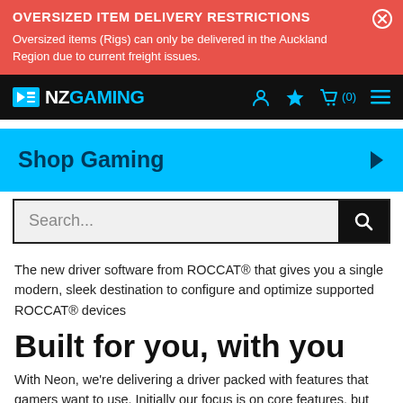OVERSIZED ITEM DELIVERY RESTRICTIONS — Oversized items (Rigs) can only be delivered in the Auckland Region due to current freight issues.
[Figure (screenshot): NZ Gaming website navigation bar with logo, user icon, star icon, cart icon (0 items), and menu icon]
Shop Gaming
Search...
The new driver software from ROCCAT® that gives you a single modern, sleek destination to configure and optimize supported ROCCAT® devices
Built for you, with you
With Neon, we're delivering a driver packed with features that gamers want to use. Initially our focus is on core features, but with your feedback we will build on this solid